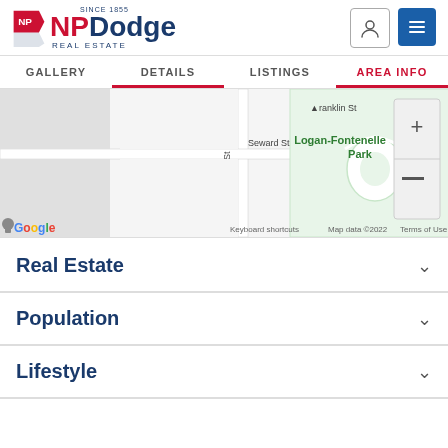[Figure (logo): NP Dodge Real Estate logo with red flag/pennant shape on left and blue text 'SINCE 1855 NP Dodge REAL ESTATE']
[Figure (screenshot): Google Maps screenshot showing Seward St, N 25th St, Franklin St, Logan-Fontenelle Park area with zoom controls (+/-) on the right]
GALLERY
DETAILS
LISTINGS
AREA INFO
Real Estate
Population
Lifestyle